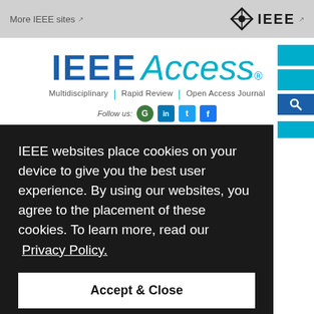More IEEE sites  [external link icon]
[Figure (logo): IEEE diamond logo with IEEE text in top right navigation bar]
[Figure (logo): IEEE Access journal logo — 'IEEE' in dark blue bold, 'Access' in cyan italic, with registered trademark symbol. Subtitle: Multidisciplinary | Rapid Review | Open Access Journal. Follow us row with social media icons.]
IEEE websites place cookies on your device to give you the best user experience. By using our websites, you agree to the placement of these cookies. To learn more, read our  Privacy Policy.
Accept & Close
ware
Standards and Their Impact in Reducing Software Failures